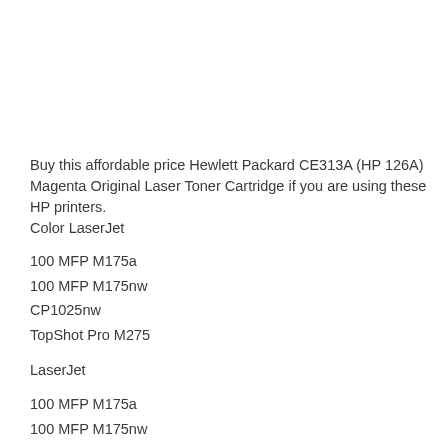Buy this affordable price Hewlett Packard CE313A (HP 126A) Magenta Original Laser Toner Cartridge if you are using these HP printers.
Color LaserJet
100 MFP M175a
100 MFP M175nw
CP1025nw
TopShot Pro M275
LaserJet
100 MFP M175a
100 MFP M175nw
CP1025nw
TopShot Pro M275